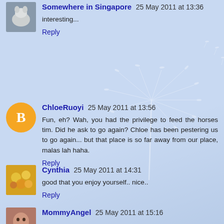Somewhere in Singapore  25 May 2011 at 13:36
interesting...
Reply
ChloeRuoyi  25 May 2011 at 13:56
Fun, eh? Wah, you had the privilege to feed the horses tim. Did he ask to go again? Chloe has been pestering us to go again... but that place is so far away from our place, malas lah haha.
Reply
Cynthia  25 May 2011 at 14:31
good that you enjoy yourself.. nice..
Reply
MommyAngel  25 May 2011 at 15:16